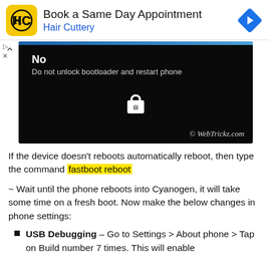[Figure (screenshot): Advertisement banner for Hair Cuttery - Book a Same Day Appointment, with yellow HC logo and blue navigation arrow icon]
[Figure (screenshot): Mobile phone screen showing 'No - Do not unlock bootloader and restart phone' with a lock icon, watermarked with WebTrickz.com]
If the device doesn't reboots automatically reboot, then type the command fastboot reboot
~ Wait until the phone reboots into Cyanogen, it will take some time on a fresh boot. Now make the below changes in phone settings:
USB Debugging – Go to Settings > About phone > Tap on Build number 7 times. This will enable